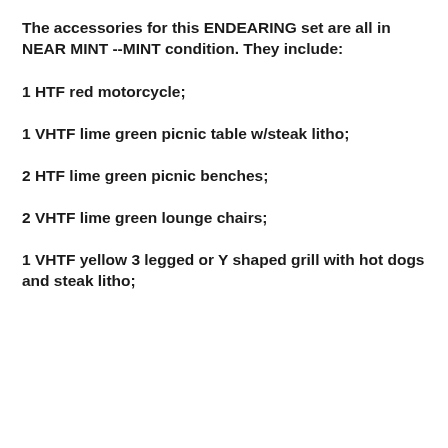The accessories for this ENDEARING set are all in NEAR MINT --MINT condition.  They include:
1 HTF red motorcycle;
1 VHTF lime green picnic table w/steak litho;
2 HTF lime green picnic benches;
2 VHTF lime green lounge chairs;
1 VHTF yellow 3 legged or Y shaped grill with hot dogs and steak litho;